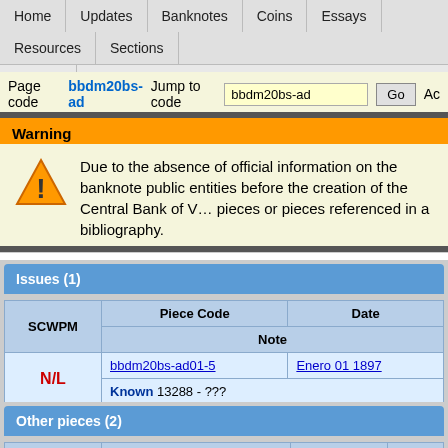Home | Updates | Banknotes | Coins | Essays | Resources | Sections | Contact
Page code bbdm20bs-ad   Jump to code bbdm20bs-ad   Go   Ac
Warning
Due to the absence of official information on the banknote public entities before the creation of the Central Bank of V... pieces or pieces referenced in a bibliography.
Issues (1)
| SCWPM | Piece Code | Date | Note |
| --- | --- | --- | --- |
| N/L | bbdm20bs-ad01-5 | Enero 01 1897 | Known 13288 - ??? |
Other pieces (2)
| SCWPM | Piece Code | Date | S |
| --- | --- | --- | --- |